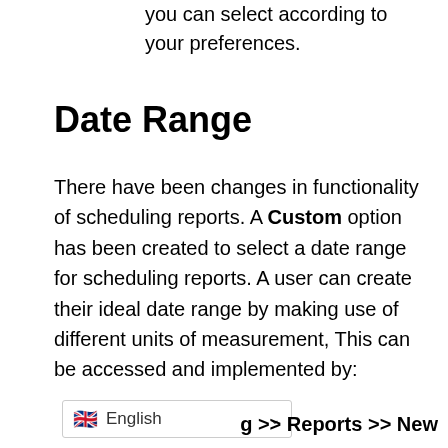you can select according to your preferences.
Date Range
There have been changes in functionality of scheduling reports. A Custom option has been created to select a date range for scheduling reports. A user can create their ideal date range by making use of different units of measurement, This can be accessed and implemented by:
English >> Reports >> New